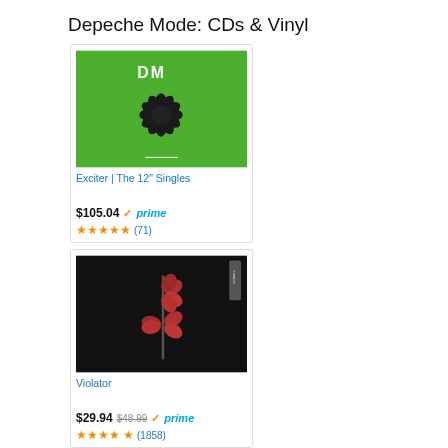Depeche Mode: CDs &amp; Vinyl
[Figure (illustration): Album cover for Exciter | The 12" Singles - green background with black spiky flower shape and DM logo]
Exciter | The 12" Singles
$105.04 ✓prime (71 reviews, 4.5 stars)
[Figure (illustration): Album cover for Violator - black background with red rose/flower sculpture]
Violator
$29.94 $48.99 ✓prime (1858 reviews, 4.5 stars)
[Figure (illustration): Album cover for 101 - black and white photo of band members]
101
[Figure (illustration): Album cover for The Best Of Depeche Mode Volume 1 - white rose with text]
The Best Of Depeche Mode, Volume 1